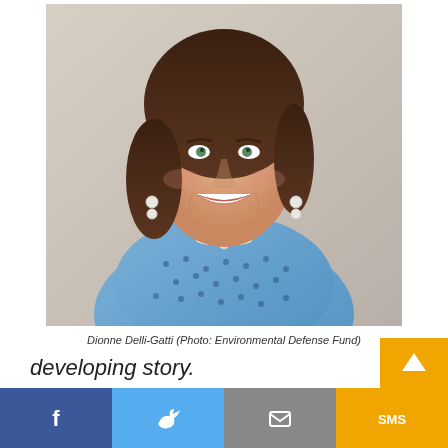[Figure (photo): Portrait photo of Dionne Delli-Gatti, a woman with dark curly hair, smiling, wearing a blue dotted top and a white necklace. Background is blurred outdoor/indoor setting.]
Dionne Delli-Gatti (Photo: Environmental Defense Fund)
developing story.
Dionne Delli-Gatti, who previously worked as the
Facebook | Twitter | Email | SMS